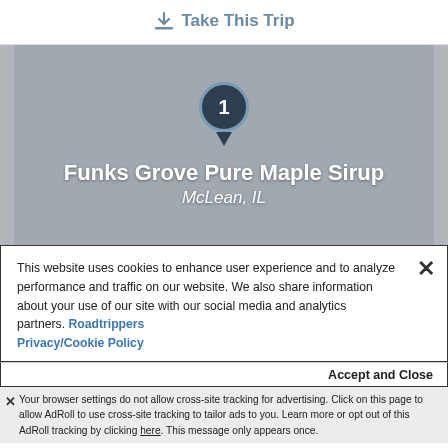Take This Trip
[Figure (map): Map view with a dark pin marker labeled '1', showing the location of Funks Grove Pure Maple Sirup in McLean, IL. The map background is gray.]
Funks Grove Pure Maple Sirup
McLean, IL
This website uses cookies to enhance user experience and to analyze performance and traffic on our website. We also share information about your use of our site with our social media and analytics partners. Roadtrippers Privacy/Cookie Policy
Accept and Close
Your browser settings do not allow cross-site tracking for advertising. Click on this page to allow AdRoll to use cross-site tracking to tailor ads to you. Learn more or opt out of this AdRoll tracking by clicking here. This message only appears once.